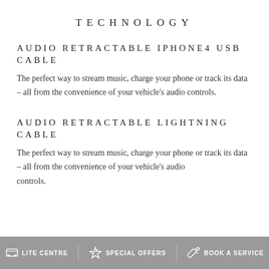TECHNOLOGY
AUDIO RETRACTABLE IPHONE4 USB CABLE
The perfect way to stream music, charge your phone or track its data – all from the convenience of your vehicle's audio controls.
AUDIO RETRACTABLE LIGHTNING CABLE
The perfect way to stream music, charge your phone or track its data – all from the convenience of your vehicle's audio controls.
LITE CENTRE  SPECIAL OFFERS  BOOK A SERVICE